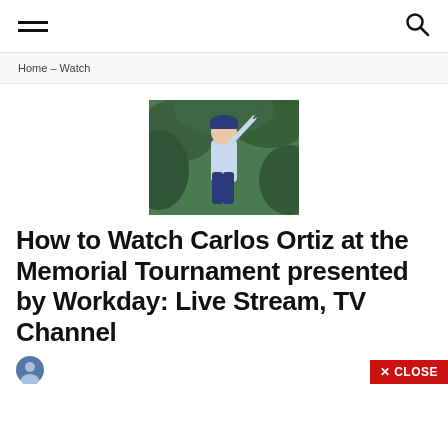☰ [hamburger menu] [search icon]
Home – Watch
[Figure (photo): Golfer (Carlos Ortiz) in blue outfit swinging a golf club, with dark green foliage in background]
How to Watch Carlos Ortiz at the Memorial Tournament presented by Workday: Live Stream, TV Channel
[Figure (photo): Small circular author avatar icon]
✕ CLOSE